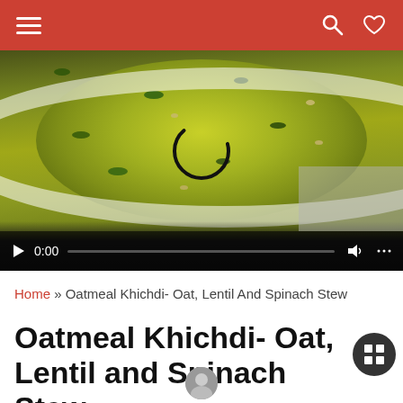Navigation bar with hamburger menu, search and heart icons
[Figure (screenshot): Video player showing a bowl of Oatmeal Khichdi (oat, lentil and spinach stew) with a loading spinner overlay. Controls show 0:00 timestamp and playback icons.]
Home » Oatmeal Khichdi- Oat, Lentil And Spinach Stew
Oatmeal Khichdi- Oat, Lentil and Spinach Stew